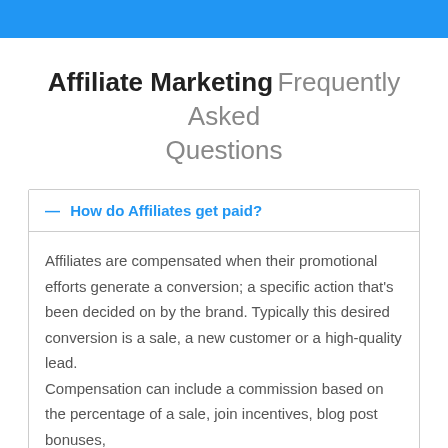Affiliate Marketing Frequently Asked Questions
— How do Affiliates get paid?
Affiliates are compensated when their promotional efforts generate a conversion; a specific action that's been decided on by the brand. Typically this desired conversion is a sale, a new customer or a high-quality lead.
Compensation can include a commission based on the percentage of a sale, join incentives, blog post bonuses,